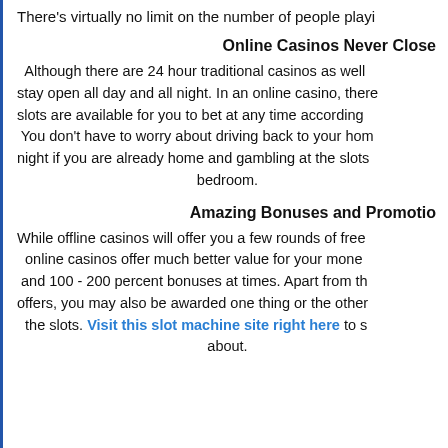There's virtually no limit on the number of people playi
Online Casinos Never Close
Although there are 24 hour traditional casinos as well stay open all day and all night. In an online casino, there slots are available for you to bet at any time according You don't have to worry about driving back to your hom night if you are already home and gambling at the slots bedroom.
Amazing Bonuses and Promotio
While offline casinos will offer you a few rounds of free online casinos offer much better value for your mone and 100 - 200 percent bonuses at times. Apart from th offers, you may also be awarded one thing or the other the slots. Visit this slot machine site right here to s about.